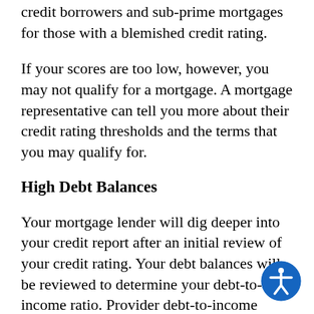credit borrowers and sub-prime mortgages for those with a blemished credit rating.
If your scores are too low, however, you may not qualify for a mortgage. A mortgage representative can tell you more about their credit rating thresholds and the terms that you may qualify for.
High Debt Balances
Your mortgage lender will dig deeper into your credit report after an initial review of your credit rating. Your debt balances will be reviewed to determine your debt-to-income ratio. Provider debt-to-income proportional and